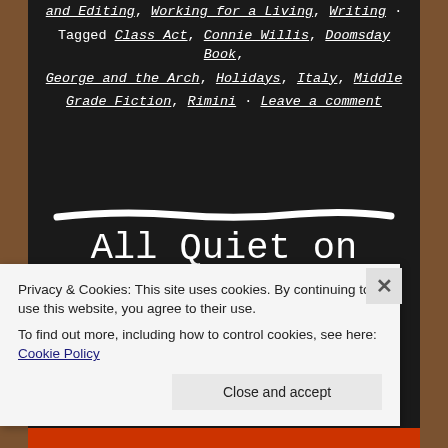and Editing, Working for a Living, Writing · Tagged Class Act, Connie Willis, Doomsday Book, George and the Arch, Holidays, Italy, Middle Grade Fiction, Rimini · Leave a comment
[Figure (illustration): A hand-drawn white chalk dividing line on a blackboard background]
All Quiet on the Blogging Front
Privacy & Cookies: This site uses cookies. By continuing to use this website, you agree to their use. To find out more, including how to control cookies, see here: Cookie Policy